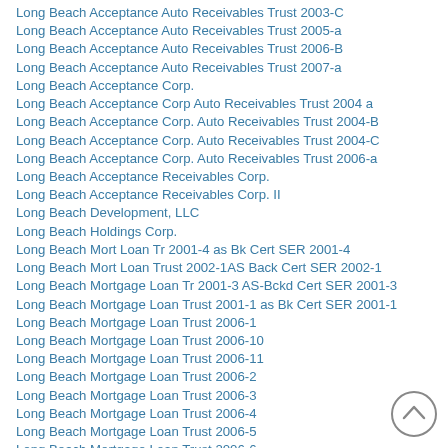Long Beach Acceptance Auto Receivables Trust 2003-C
Long Beach Acceptance Auto Receivables Trust 2005-a
Long Beach Acceptance Auto Receivables Trust 2006-B
Long Beach Acceptance Auto Receivables Trust 2007-a
Long Beach Acceptance Corp.
Long Beach Acceptance Corp Auto Receivables Trust 2004 a
Long Beach Acceptance Corp. Auto Receivables Trust 2004-B
Long Beach Acceptance Corp. Auto Receivables Trust 2004-C
Long Beach Acceptance Corp. Auto Receivables Trust 2006-a
Long Beach Acceptance Receivables Corp.
Long Beach Acceptance Receivables Corp. II
Long Beach Development, LLC
Long Beach Holdings Corp.
Long Beach Mort Loan Tr 2001-4 as Bk Cert SER 2001-4
Long Beach Mort Loan Trust 2002-1AS Back Cert SER 2002-1
Long Beach Mortgage Loan Tr 2001-3 AS-Bckd Cert SER 2001-3
Long Beach Mortgage Loan Trust 2001-1 as Bk Cert SER 2001-1
Long Beach Mortgage Loan Trust 2006-1
Long Beach Mortgage Loan Trust 2006-10
Long Beach Mortgage Loan Trust 2006-11
Long Beach Mortgage Loan Trust 2006-2
Long Beach Mortgage Loan Trust 2006-3
Long Beach Mortgage Loan Trust 2006-4
Long Beach Mortgage Loan Trust 2006-5
Long Beach Mortgage Loan Trust 2006-6